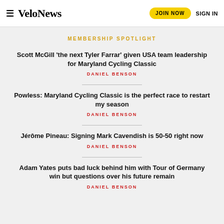VeloNews  JOIN NOW  SIGN IN
MEMBERSHIP SPOTLIGHT
Scott McGill 'the next Tyler Farrar' given USA team leadership for Maryland Cycling Classic
DANIEL BENSON
Powless: Maryland Cycling Classic is the perfect race to restart my season
DANIEL BENSON
Jérôme Pineau: Signing Mark Cavendish is 50-50 right now
DANIEL BENSON
Adam Yates puts bad luck behind him with Tour of Germany win but questions over his future remain
DANIEL BENSON